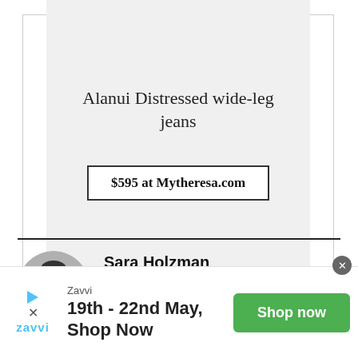Alanui Distressed wide-leg jeans
$595 at Mytheresa.com
Sara Holzman
Style Director
[Figure (photo): Circular portrait photo of Sara Holzman wearing sunglasses]
[Figure (infographic): Ad banner: Zavvi logo with play icon and X icon. Text: Zavvi, 19th - 22nd May, Shop Now. Green 'Shop now' button. Close X circle button.]